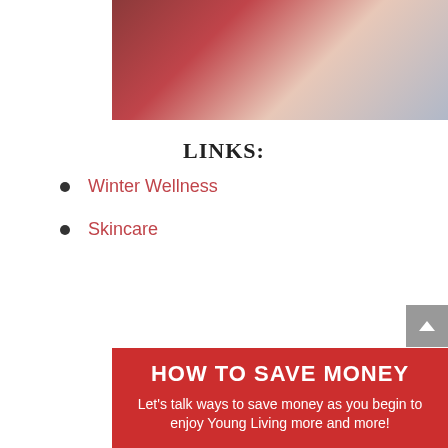[Figure (photo): Person in dark red top with hand on chest, bottles and products visible in background]
LINKS:
Winter Wellness
Skincare
[Figure (infographic): Red banner with text: HOW TO SAVE MONEY - Let's talk ways to save money as you begin to enjoy Young Living more and more!]
HOW TO SAVE MONEY
Let's talk ways to save money as you begin to enjoy Young Living more and more!